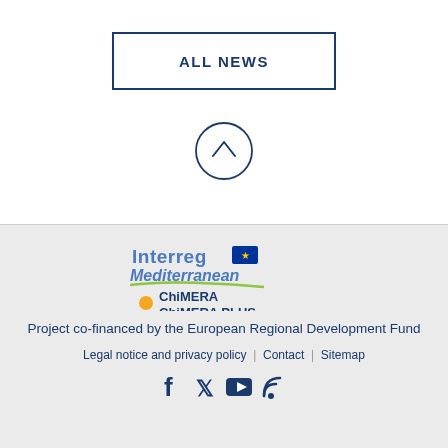ALL NEWS
[Figure (illustration): Circle with upward chevron arrow inside, serving as a back-to-top button]
[Figure (logo): Interreg Mediterranean ChiMERA ChiMERA PLUS logo with EU flag stars and yellow dot]
Project co-financed by the European Regional Development Fund
Legal notice and privacy policy | Contact | Sitemap
[Figure (illustration): Social media icons: Facebook, Twitter, YouTube, RSS feed]